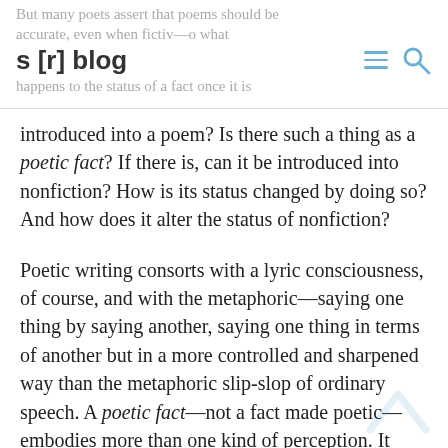s [r] blog
introduced into a poem? Is there such a thing as a poetic fact? If there is, can it be introduced into nonfiction? How is its status changed by doing so? And how does it alter the status of nonfiction?
Poetic writing consorts with a lyric consciousness, of course, and with the metaphoric—saying one thing by saying another, saying one thing in terms of another but in a more controlled and sharpened way than the metaphoric slip-slop of ordinary speech. A poetic fact—not a fact made poetic—embodies more than one kind of perception. It registers more than one kind of measurement. And it inspires in us a devoted restlessness among these perceptions and